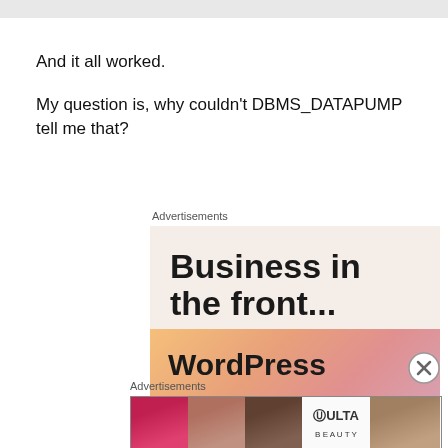And it all worked.
My question is, why couldn't DBMS_DATAPUMP tell me that?
Advertisements
[Figure (illustration): Advertisement banner: 'Business in the front...' with WordPress logo on an orange-pink gradient background]
Advertisements
[Figure (illustration): ULTA beauty advertisement banner showing makeup product images and 'SHOP NOW' call to action]